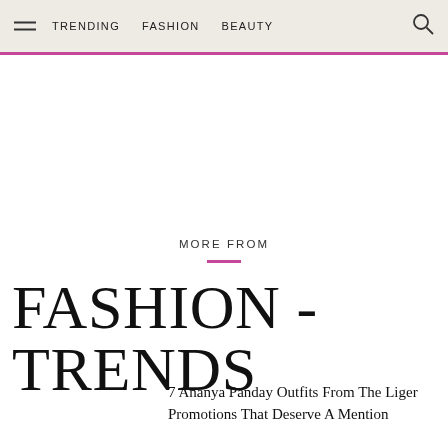TRENDING  FASHION  BEAUTY
MORE FROM
FASHION - TRENDS
7 Ananya Panday Outfits From The Liger Promotions That Deserve A Mention